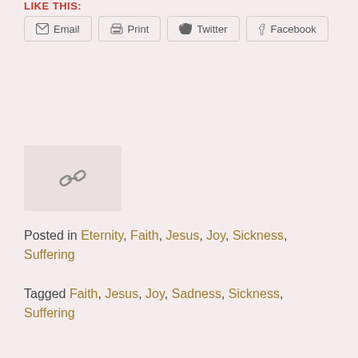LIKE THIS:
[Figure (infographic): Social sharing buttons: Email, Print, Twitter, Facebook]
[Figure (other): Link/chain icon in a light gray-pink box]
Posted in Eternity, Faith, Jesus, Joy, Sickness, Suffering
Tagged Faith, Jesus, Joy, Sadness, Sickness, Suffering